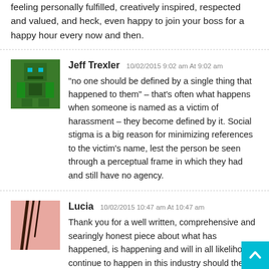feeling personally fulfilled, creatively inspired, respected and valued, and heck, even happy to join your boss for a happy hour every now and then.
Jeff Trexler 10/02/2015 9:02 am At 9:02 am
“no one should be defined by a single thing that happened to them” – that’s often what happens when someone is named as a victim of harassment – they become defined by it. Social stigma is a big reason for minimizing references to the victim’s name, lest the person be seen through a perceptual frame in which they had and still have no agency.
Lucia 10/02/2015 10:47 am At 10:47 am

Thank you for a well written, comprehensive and searingly honest piece about what has happened, is happening and will in all likelihood continue to happen in this industry should the noise generated return, yet again, to background grumbling. Grumbling, I’d venture